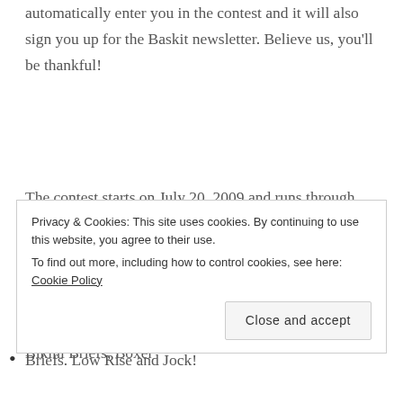automatically enter you in the contest and it will also sign you up for the Baskit newsletter. Believe us, you'll be thankful!
The contest starts on July 20, 2009 and runs through July 30, 2009 at Midnight. Beginning Monday, July 27, 2009, we will be drawing one name each day from Monday through Friday to win one pair of Pure underwear. Friday, we will draw the grand prize winner who will win the entire line of Pure! That includes Bikini Briefs, Boxer Briefs. Low Rise and Jock!
Privacy & Cookies: This site uses cookies. By continuing to use this website, you agree to their use. To find out more, including how to control cookies, see here: Cookie Policy
Close and accept